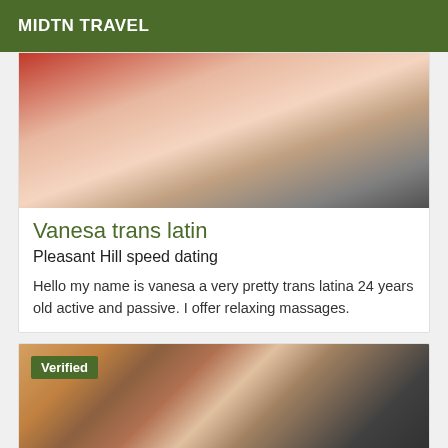MIDTN TRAVEL
[Figure (photo): Partial photo of a woman in a red top]
Vanesa trans latin
Pleasant Hill speed dating
Hello my name is vanesa a very pretty trans latina 24 years old active and passive. I offer relaxing massages.
[Figure (photo): Photo with a Verified badge overlay, showing a person in lingerie]